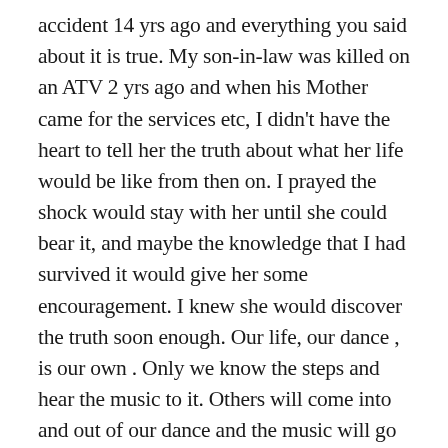accident 14 yrs ago and everything you said about it is true. My son-in-law was killed on an ATV 2 yrs ago and when his Mother came for the services etc, I didn't have the heart to tell her the truth about what her life would be like from then on. I prayed the shock would stay with her until she could bear it, and maybe the knowledge that I had survived it would give her some encouragement. I knew she would discover the truth soon enough. Our life, our dance , is our own . Only we know the steps and hear the music to it. Others will come into and out of our dance and the music will go on until we do that final dance alone. I try to dance so my children and grandchildren and others would learn to love again.